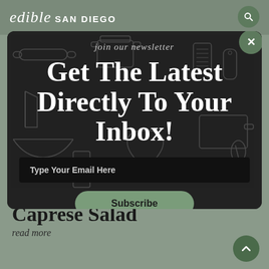edible SAN DIEGO
join our newsletter
Get The Latest Directly To Your Inbox!
Type Your Email Here
Subscribe
Caprese Salad
read more